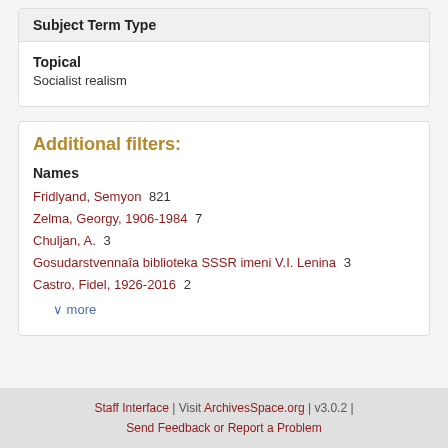Subject Term Type
Topical
Socialist realism
Additional filters:
Names
Fridlyand, Semyon  821
Zelma, Georgy, 1906-1984  7
Chuljan, A.  3
Gosudarstvennai͡a biblioteka SSSR imeni V.I. Lenina  3
Castro, Fidel, 1926-2016  2
∨ more
Staff Interface | Visit ArchivesSpace.org | v3.0.2 | Send Feedback or Report a Problem